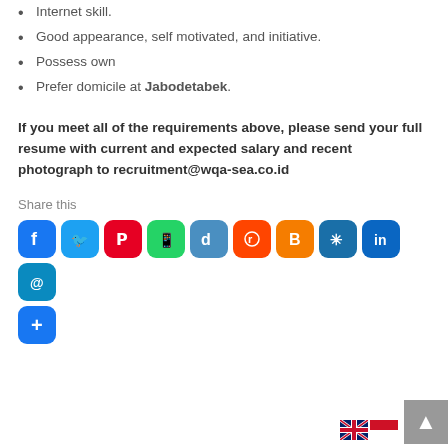Internet skill.
Good appearance, self motivated, and initiative.
Possess own
Prefer domicile at Jabodetabek.
If you meet all of the requirements above, please send your full resume with current and expected salary and recent photograph to recruitment@wqa-sea.co.id
Share this
[Figure (other): Social share buttons: Facebook, Twitter, Pinterest, WhatsApp, Digg, Reddit, Blogger, Mix, LinkedIn, Email, More]